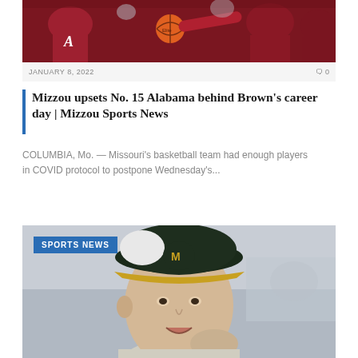[Figure (photo): Basketball players in red Alabama uniforms fighting for a ball during a game]
JANUARY 8, 2022   0
Mizzou upsets No. 15 Alabama behind Brown's career day | Mizzou Sports News
COLUMBIA, Mo. — Missouri's basketball team had enough players in COVID protocol to postpone Wednesday's...
[Figure (photo): Man wearing a black Mizzou cap with gold brim, speaking or reacting, with SPORTS NEWS badge overlay]